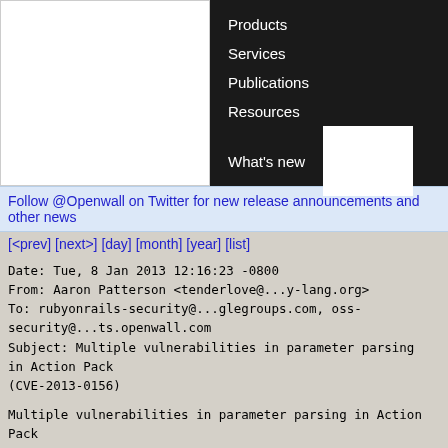[Figure (screenshot): Website navigation area with logo area on left (white) and dark navigation menu on right showing: Products, Services, Publications, Resources, What's new]
Follow @Openwall on Twitter for new release announcements and other news
[<prev] [next>] [day] [month] [year] [list]
Date: Tue, 8 Jan 2013 12:16:23 -0800
From: Aaron Patterson <tenderlove@...y-lang.org>
To: rubyonrails-security@...glegroups.com, oss-security@...ts.openwall.com
Subject: Multiple vulnerabilities in parameter parsing in Action Pack
 (CVE-2013-0156)
Multiple vulnerabilities in parameter parsing in Action Pack
There are multiple weaknesses in the parameter parsing code for Ruby on Rails which allows attackers to bypass